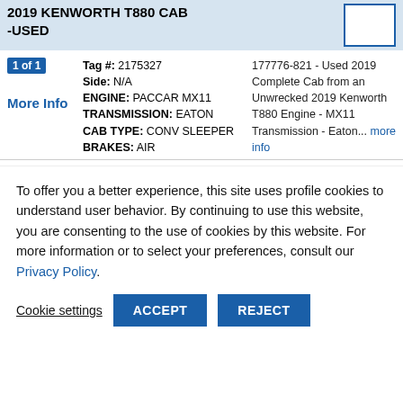2019 KENWORTH T880 CAB -USED
1 of 1  Tag #: 2175327  Side: N/A  ENGINE: PACCAR MX11  TRANSMISSION: EATON  CAB TYPE: CONV SLEEPER  BRAKES: AIR  |  177776-821 - Used 2019 Complete Cab from an Unwrecked 2019 Kenworth T880 Engine - MX11 Transmission - Eaton... more info
More Info
To offer you a better experience, this site uses profile cookies to understand user behavior. By continuing to use this website, you are consenting to the use of cookies by this website. For more information or to select your preferences, consult our Privacy Policy.
Cookie settings  ACCEPT  REJECT